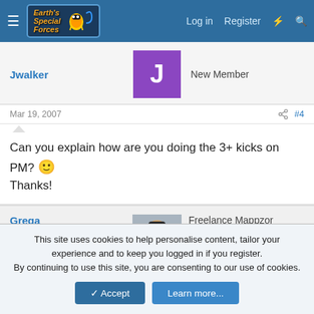Earth's Special Forces forum navigation: Log in, Register
Jwalker — New Member
Mar 19, 2007  #4
Can you explain how are you doing the 3+ kicks on PM? 🙂 Thanks!
Grega — Freelance Mappzor — HL Verified — Steam Linked — Oldtimer
Mar 20, 2007  #5
This site uses cookies to help personalise content, tailor your experience and to keep you logged in if you register.
By continuing to use this site, you are consenting to our use of cookies.